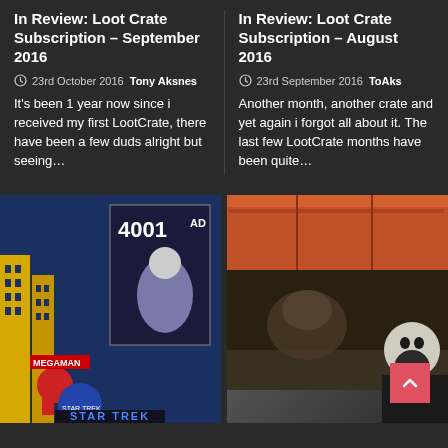In Review: Loot Crate Subscription – September 2016
23rd October 2016  Tony Aksnes
It's been 1 year now since i received my first LootCrate, there have been a few duds alright but seeing…
In Review: Loot Crate Subscription – August 2016
23rd September 2016  ToAks
Another month, another crate and yet again i forgot all about it. The last few LootCrate months have been quite…
[Figure (photo): Photo of Loot Crate contents including Mega Man figure, Star Trek items, and 2000AD comic book]
[Figure (photo): Photo of Loot Crate contents including Fallout themed items with a skull figure and post-apocalyptic scene]